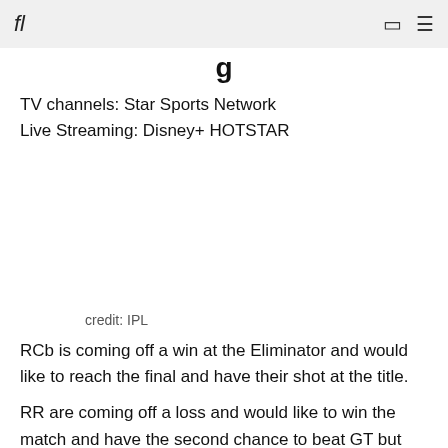fl
TV channels: Star Sports Network
Live Streaming: Disney+ HOTSTAR
[Figure (photo): IPL match image (partially visible / blank area)]
credit: IPL
RCb is coming off a win at the Eliminator and would like to reach the final and have their shot at the title.
RR are coming off a loss and would like to win the match and have the second chance to beat GT but this time in final.